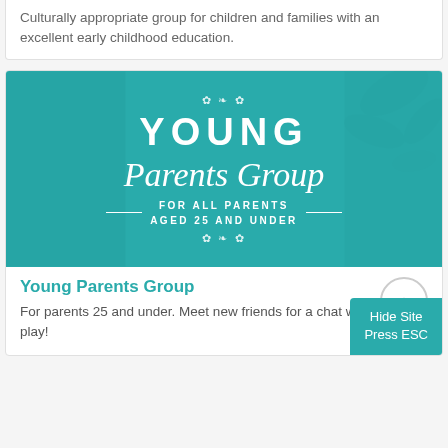Culturally appropriate group for children and families with an excellent early childhood education.
[Figure (illustration): Teal-tinted banner image with children playing in the background. Text overlay reads: YOUNG Parents Group FOR ALL PARENTS AGED 25 AND UNDER, with decorative floral dividers.]
Young Parents Group
For parents 25 and under. Meet new friends for a chat while the kids play!